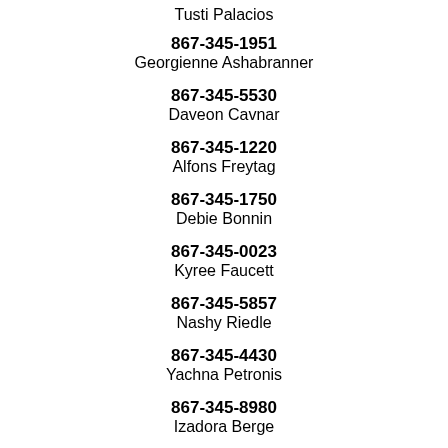Tusti Palacios
867-345-1951
Georgienne Ashabranner
867-345-5530
Daveon Cavnar
867-345-1220
Alfons Freytag
867-345-1750
Debie Bonnin
867-345-0023
Kyree Faucett
867-345-5857
Nashy Riedle
867-345-4430
Yachna Petronis
867-345-8980
Izadora Berge